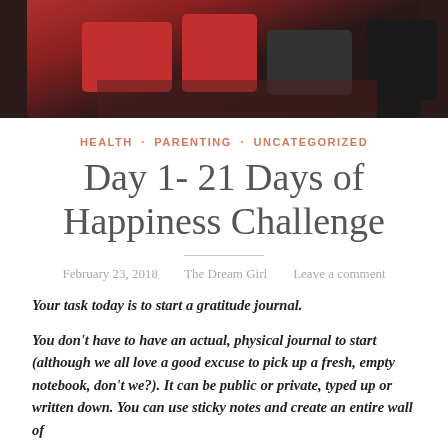[Figure (photo): Photo banner at top of blog post showing people with red bags on a dark couch background]
HEALTH · PARENTING · UNCATEGORIZED
Day 1- 21 Days of Happiness Challenge
February 23, 2018   The Dream Girl   Leave a comment
Your task today is to start a gratitude journal.
You don't have to have an actual, physical journal to start (although we all love a good excuse to pick up a fresh, empty notebook, don't we?). It can be public or private, typed up or written down. You can use sticky notes and create an entire wall of